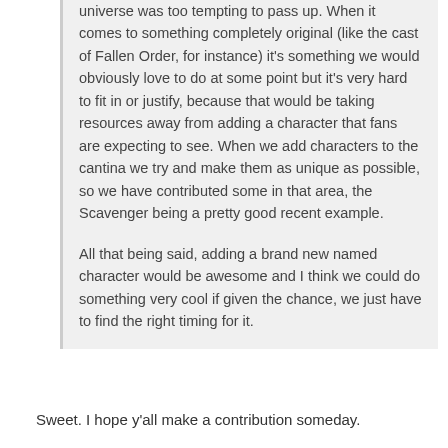universe was too tempting to pass up. When it comes to something completely original (like the cast of Fallen Order, for instance) it's something we would obviously love to do at some point but it's very hard to fit in or justify, because that would be taking resources away from adding a character that fans are expecting to see. When we add characters to the cantina we try and make them as unique as possible, so we have contributed some in that area, the Scavenger being a pretty good recent example.

All that being said, adding a brand new named character would be awesome and I think we could do something very cool if given the chance, we just have to find the right timing for it.
Sweet. I hope y'all make a contribution someday.